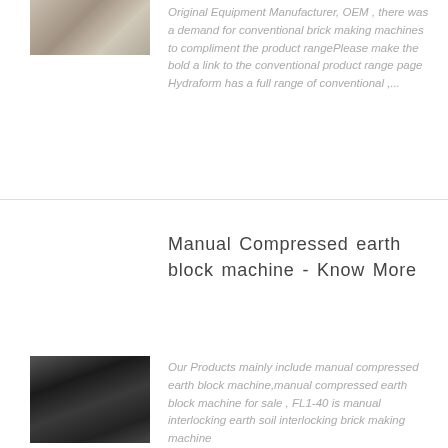[Figure (photo): Partial image of industrial machinery or equipment, cut off at top]
Original Equipment Manufacturer, OEM , there was a demand for conventional brick making machines to compliment the product rangePlease make the bold a link to the conventional product range page Hydraform has a full range of conventional ,...
Manual Compressed earth block machine - Know More
[Figure (photo): Black industrial compressed earth block machine in a warehouse setting]
Our Products mainly include manual compressed earth block machine,manual compressed earth block machine for sale , FL1-40 is manual interlocking earth soil interlocking brick making machine